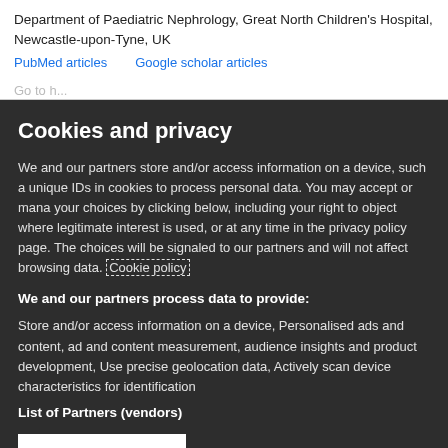Department of Paediatric Nephrology, Great North Children's Hospital, Newcastle-upon-Tyne, UK
PubMed articles    Google scholar articles
Cookies and privacy
We and our partners store and/or access information on a device, such as unique IDs in cookies to process personal data. You may accept or manage your choices by clicking below, including your right to object where legitimate interest is used, or at any time in the privacy policy page. These choices will be signaled to our partners and will not affect browsing data. Cookie policy
We and our partners process data to provide:
Store and/or access information on a device, Personalised ads and content, ad and content measurement, audience insights and product development, Use precise geolocation data, Actively scan device characteristics for identification
List of Partners (vendors)
I Accept